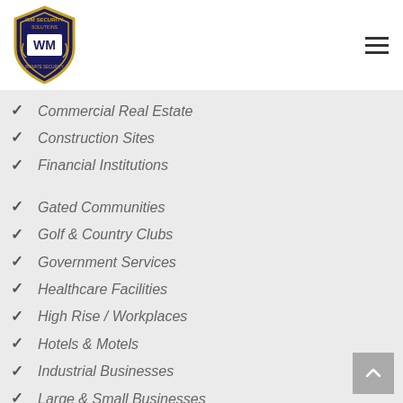[Figure (logo): WM Security Solutions badge/shield logo in navy blue and gold with WM initials]
Commercial Real Estate
Construction Sites
Financial Institutions
Gated Communities
Golf & Country Clubs
Government Services
Healthcare Facilities
High Rise / Workplaces
Hotels & Motels
Industrial Businesses
Large & Small Businesses